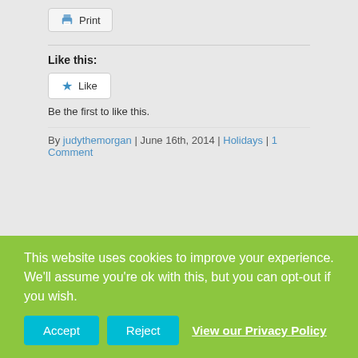[Figure (screenshot): Print button with printer icon]
Like this:
[Figure (screenshot): Like button with blue star icon]
Be the first to like this.
By judythemorgan | June 16th, 2014 | Holidays | 1 Comment
Share This Story, Choose Your Platform!
[Figure (infographic): Social share icons: Facebook (f), Twitter (bird), LinkedIn (in) in green]
This website uses cookies to improve your experience. We'll assume you're ok with this, but you can opt-out if you wish.
Accept  Reject  View our Privacy Policy